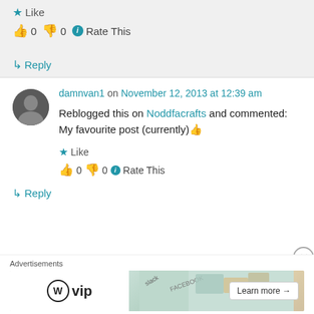Like
👍 0 👎 0 ℹ Rate This
↳ Reply
damnvan1 on November 12, 2013 at 12:39 am
Reblogged this on Noddfacrafts and commented:
My favourite post (currently) 👍
Like
👍 0 👎 0 ℹ Rate This
↳ Reply
Advertisements
[Figure (screenshot): WordPress VIP advertisement banner with Learn more button]